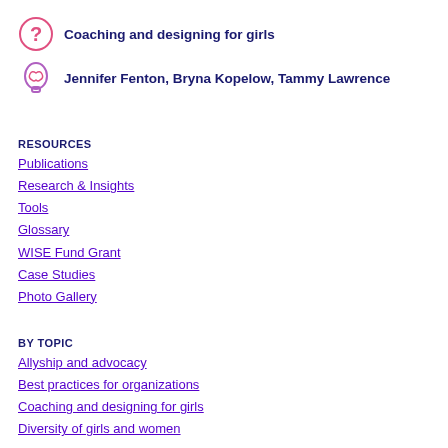Coaching and designing for girls
Jennifer Fenton, Bryna Kopelow, Tammy Lawrence
RESOURCES
Publications
Research & Insights
Tools
Glossary
WISE Fund Grant
Case Studies
Photo Gallery
BY TOPIC
Allyship and advocacy
Best practices for organizations
Coaching and designing for girls
Diversity of girls and women